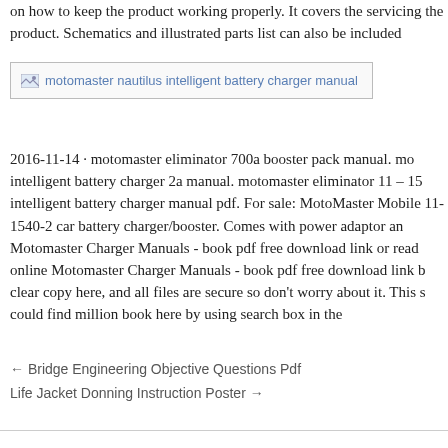on how to keep the product working properly. It covers the servicing the product. Schematics and illustrated parts list can also be included
[Figure (other): Broken image placeholder labeled 'motomaster nautilus intelligent battery charger manual']
2016-11-14 · motomaster eliminator 700a booster pack manual. mo intelligent battery charger 2a manual. motomaster eliminator 11 – 15 intelligent battery charger manual pdf. For sale: MotoMaster Mobile 11-1540-2 car battery charger/booster. Comes with power adaptor an Motomaster Charger Manuals - book pdf free download link or read online Motomaster Charger Manuals - book pdf free download link b clear copy here, and all files are secure so don't worry about it. This s could find million book here by using search box in the
← Bridge Engineering Objective Questions Pdf
Life Jacket Donning Instruction Poster →